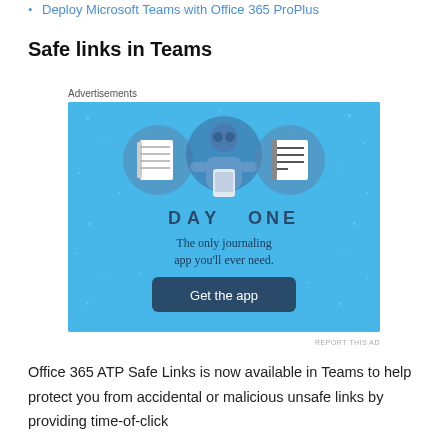Deploy Microsoft Teams with Office 365 ProPlus
Safe links in Teams
[Figure (illustration): Advertisement for Day One journaling app. Blue background with illustrated icons of a notebook, a person holding a phone, and a list/notes icon. Text reads 'DAY ONE - The only journaling app you'll ever need.' with a 'Get the app' button.]
REPORT THIS AD
Office 365 ATP Safe Links is now available in Teams to help protect you from accidental or malicious unsafe links by providing time-of-click